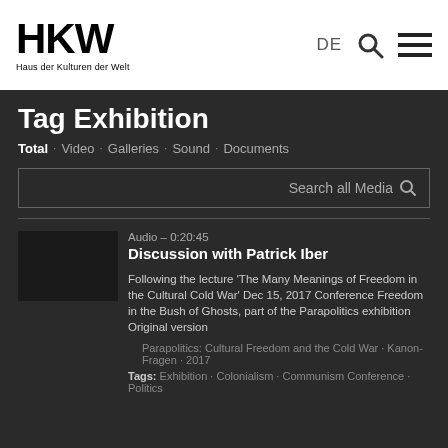[Figure (logo): HKW logo — bold letters HKW with tagline Haus der Kulturen der Welt]
DE  [search icon]  [menu icon]
Tag Exhibition
Total · Video · Galleries · Sound · Documents
Search all Media
Audio – 0:20:45
Discussion with Patrick Iber
Following the lecture 'The Many Meanings of Freedom in the Cultural Cold War' Dec 15, 2017 Conference Freedom in the Bush of Ghosts, part of the Parapolitics exhibition Original version
Parapolitics: Cultural Freedom and the Cold War · Kanon-Fragen · 2017
Tags: Exhibition · Colonialism · Communism Conference · Politics